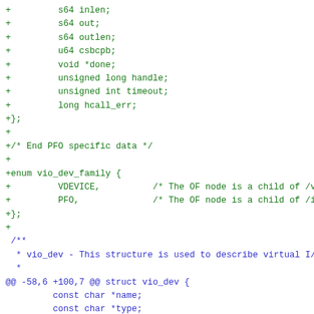Code diff showing struct fields and enum definition for vio_dev_family and struct vio_dev